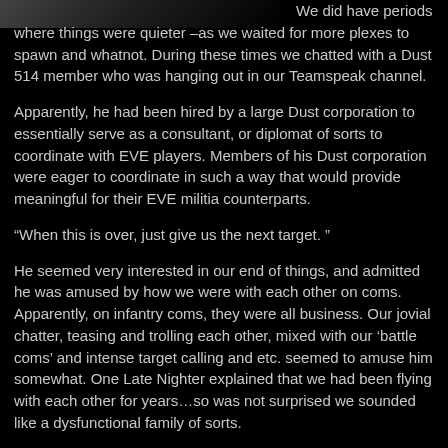[Figure (photo): Dark photograph strip at the top left of the page, showing a dark scene with indistinct figures or landscape.]
We did have periods where things were quieter –as we waited for more plexes to spawn and whatnot. During these times we chatted with a Dust 514 member who was hanging out in our Teamspeak channel.
Apparently, he had been hired by a large Dust corporation to essentially serve as a consultant, or diplomat of sorts to coordinate with EVE players. Members of his Dust corporation were eager to coordinate in such a way that would provide meaningful for their EVE militia counterparts.
“When this is over, just give us the next target. ”
He seemed very interested in our end of things, and admitted he was amused by how we were with each other on coms. Apparently, on infantry coms, they were all business. Our jovial chatter, teasing and trolling each other, mixed with our ‘battle coms’ and intense target calling and etc. seemed to amuse him somewhat. One Late Nighter explained that we had been flying with each other for years…so was not surprised we sounded like a dysfunctional family of sorts.